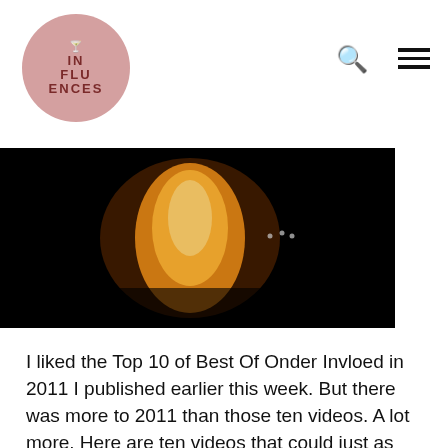IN FLU ENCES logo with search and menu icons
[Figure (photo): Dark concert or event scene with an orange glowing light and people in silhouette against a black background]
I liked the Top 10 of Best Of Onder Invloed in 2011 I published earlier this week. But there was more to 2011 than those ten videos. A lot more. Here are ten videos that could just as easily have ended up in the top ten. I hope you enjoy this. Stay away from fireworks, so you can still hear these songs in 2012.